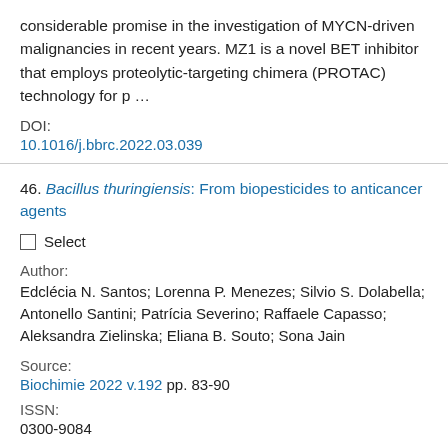considerable promise in the investigation of MYCN-driven malignancies in recent years. MZ1 is a novel BET inhibitor that employs proteolytic-targeting chimera (PROTAC) technology for p …
DOI:
10.1016/j.bbrc.2022.03.039
46. Bacillus thuringiensis: From biopesticides to anticancer agents
Select
Author:
Edclécia N. Santos; Lorenna P. Menezes; Silvio S. Dolabella; Antonello Santini; Patrícia Severino; Raffaele Capasso; Aleksandra Zielinska; Eliana B. Souto; Sona Jain
Source:
Biochimie 2022 v.192 pp. 83-90
ISSN:
0300-9084